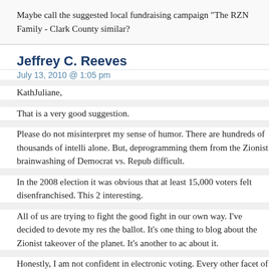Maybe call the suggested local fundraising campaign "The RZN Family - Clark County similar?
Jeffrey C. Reeves
July 13, 2010 @ 1:05 pm
KathJuliane,
That is a very good suggestion.
Please do not misinterpret my sense of humor. There are hundreds of thousands of intelli alone. But, deprogramming them from the Zionist brainwashing of Democrat vs. Repub difficult.
In the 2008 election it was obvious that at least 15,000 voters felt disenfranchised. This interesting.
All of us are trying to fight the good fight in our own way. I've decided to devote my res the ballot. It's one thing to blog about the Zionist takeover of the planet. It's another to a about it.
Honestly, I am not confident in electronic voting. Every other facet of society is heavily What makes people believe that elections are any different? A quick visit to www.blackb questions about the integrity of our elections.
Still, we cannot simply roll over and let them win. Every citizen that I enlighten with r